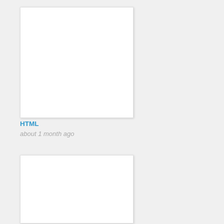[Figure (screenshot): White blank card/thumbnail, first item]
HTML
about 1 month ago
[Figure (screenshot): White blank card/thumbnail, second item (partially visible)]